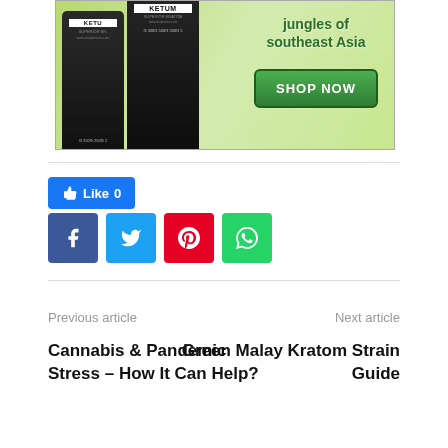[Figure (photo): Advertisement for Ketum Superior Kratom showing two black product bags (250G and 500G sizes) on a wooden surface with green jungle background. Text reads 'jungles of southeast Asia' with a green 'SHOP NOW' button.]
Like 0
[Figure (infographic): Social media share buttons: Facebook (blue), Twitter (cyan), Pinterest (red), WhatsApp (green)]
Previous article
Next article
Cannabis & Pandemic Stress – How It Can Help?
Green Malay Kratom Strain Guide